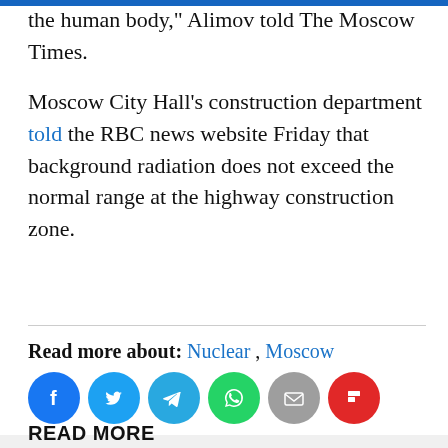the human body," Alimov told The Moscow Times.
Moscow City Hall's construction department told the RBC news website Friday that background radiation does not exceed the normal range at the highway construction zone.
Read more about: Nuclear , Moscow
[Figure (infographic): Row of social media share icons: Facebook (blue), Twitter (blue), Telegram (blue), WhatsApp (green), Email (gray), Flipboard (red)]
READ MORE